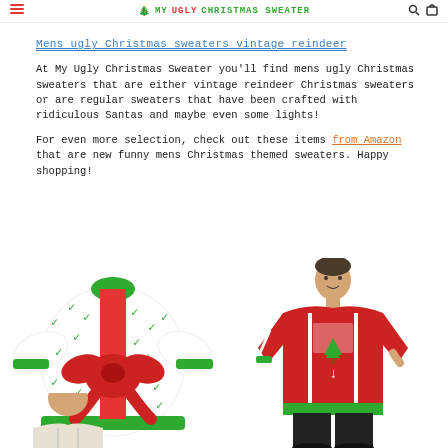MY UGLY CHRISTMAS SWEATER
Mens ugly Christmas sweaters vintage reindeer
At My Ugly Christmas Sweater you'll find mens ugly Christmas sweaters that are either vintage reindeer Christmas sweaters or are regular sweaters that have been crafted with ridiculous Santas and maybe even some lights!
For even more selection, check out these items from Amazon that are new funny mens Christmas themed sweaters. Happy shopping!
[Figure (photo): White Christmas sweater with green reindeer pattern and large red bow]
[Figure (photo): Man wearing red ugly Christmas sweater with white stripes and Christmas tree design]
[Figure (photo): Bottom portion of person wearing a light colored Christmas sweater, cropped at bottom of page]